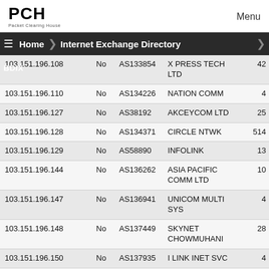PCH Packet Clearing House  Menu
≡  Home  >  Internet Exchange Directory  >
| IP | RS | AS | Name | Num |
| --- | --- | --- | --- | --- |
| 103.151.196.108 | No | AS133854 | X PRESS TECH LTD | 42 |
| 103.151.196.110 | No | AS134226 | NATION COMM | 4 |
| 103.151.196.127 | No | AS38192 | AKCEYCOM LTD | 25 |
| 103.151.196.128 | No | AS134371 | CIRCLE NTWK | 514 |
| 103.151.196.129 | No | AS58890 | INFOLINK | 13 |
| 103.151.196.144 | No | AS136262 | ASIA PACIFIC COMM LTD | 10 |
| 103.151.196.147 | No | AS136941 | UNICOM MULTI SYS | 4 |
| 103.151.196.148 | No | AS137449 | SKYNET CHOWMUHANI | 28 |
| 103.151.196.150 | No | AS137935 | I LINK INET SVC | 4 |